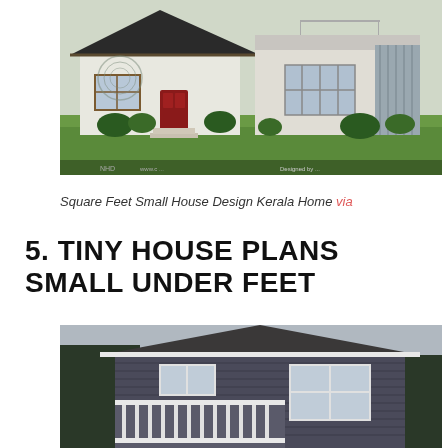[Figure (photo): Exterior rendering of a Kerala-style small house with mixed pitched and flat roof sections, white walls, brown wooden window frames, red front door, landscaped garden with trimmed bushes and lawn. Watermark and website URL visible at bottom corners.]
Square Feet Small House Design Kerala Home via
5. TINY HOUSE PLANS SMALL UNDER FEET
[Figure (photo): Exterior photo of a dark grey/charcoal sided two-story house with white trim, white railing deck/porch, multiple windows with white frames, surrounded by trees.]